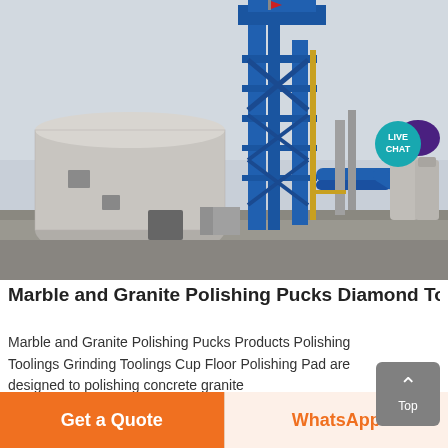[Figure (photo): Industrial plant with tall blue steel structure/tower with pipework and conveyors, large concrete circular building on left, grey sky background, outdoor industrial facility]
Marble and Granite Polishing Pucks Diamond Tools
Marble and Granite Polishing Pucks Products Polishing Toolings Grinding Toolings Cup Floor Polishing Pad are designed to polishing concrete granite